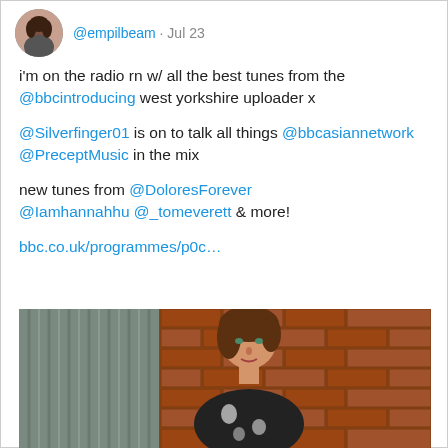@empilbeam · Jul 23
i'm on the radio rn w/ all the best tunes from the @bbcintroducing west yorkshire uploader x
@Silverfinger01 is on to talk all things @bbcasiannetwork @PreceptMusic in the mix
new tunes from @DoloresForever @Iamhannahhu @_tomeverett & more!
bbc.co.uk/programmes/p0c…
[Figure (photo): Young woman with brown hair leaning against a brick wall, wearing a black and white floral top]